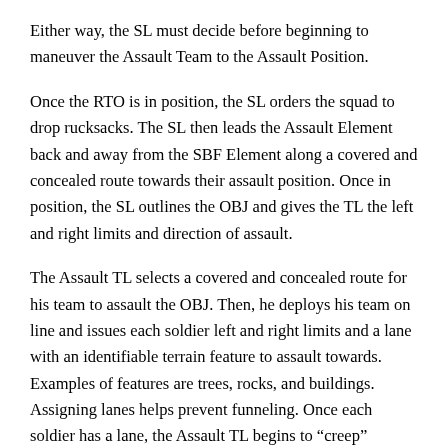Either way, the SL must decide before beginning to maneuver the Assault Team to the Assault Position.
Once the RTO is in position, the SL orders the squad to drop rucksacks. The SL then leads the Assault Element back and away from the SBF Element along a covered and concealed route towards their assault position. Once in position, the SL outlines the OBJ and gives the TL the left and right limits and direction of assault.
The Assault TL selects a covered and concealed route for his team to assault the OBJ. Then, he deploys his team on line and issues each soldier left and right limits and a lane with an identifiable terrain feature to assault towards. Examples of features are trees, rocks, and buildings. Assigning lanes helps prevent funneling. Once each soldier has a lane, the Assault TL begins to “creep”